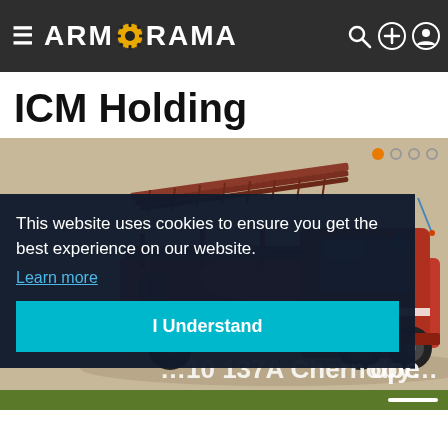Armorama
ICM Holding
[Figure (photo): Photo of a red fire truck scale model (ZiL-137A Chernobyl type) on a beige/tan background, showing detailed ladder equipment and hoses on the vehicle.]
This website uses cookies to ensure you get the best experience on our website.
Learn more
I Understand